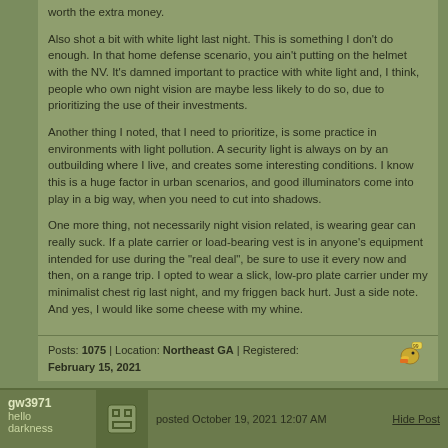worth the extra money.

Also shot a bit with white light last night. This is something I don't do enough. In that home defense scenario, you ain't putting on the helmet with the NV. It's damned important to practice with white light and, I think, people who own night vision are maybe less likely to do so, due to prioritizing the use of their investments.

Another thing I noted, that I need to prioritize, is some practice in environments with light pollution. A security light is always on by an outbuilding where I live, and creates some interesting conditions. I know this is a huge factor in urban scenarios, and good illuminators come into play in a big way, when you need to cut into shadows.

One more thing, not necessarily night vision related, is wearing gear can really suck. If a plate carrier or load-bearing vest is in anyone's equipment intended for use during the "real deal", be sure to use it every now and then, on a range trip. I opted to wear a slick, low-pro plate carrier under my minimalist chest rig last night, and my friggen back hurt. Just a side note. And yes, I would like some cheese with my whine.
Posts: 1075 | Location: Northeast GA | Registered: February 15, 2021
gw3971
hello darkness
posted October 19, 2021 12:07 AM
Hide Post